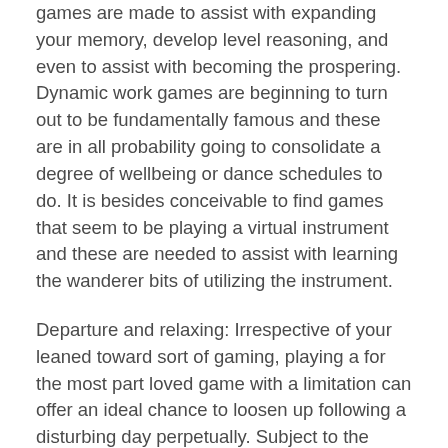games are made to assist with expanding your memory, develop level reasoning, and even to assist with becoming the prospering. Dynamic work games are beginning to turn out to be fundamentally famous and these are in all probability going to consolidate a degree of wellbeing or dance schedules to do. It is besides conceivable to find games that seem to be playing a virtual instrument and these are needed to assist with learning the wanderer bits of utilizing the instrument.
Departure and relaxing: Irrespective of your leaned toward sort of gaming, playing a for the most part loved game with a limitation can offer an ideal chance to loosen up following a disturbing day perpetually. Subject to the games that you are playing, they could likewise offer the capacity to create the inventive reasoning and prosperity levels. During the time spent the playing the games, it is enormous not to raise too to an OK level in the turn of events and play for wide